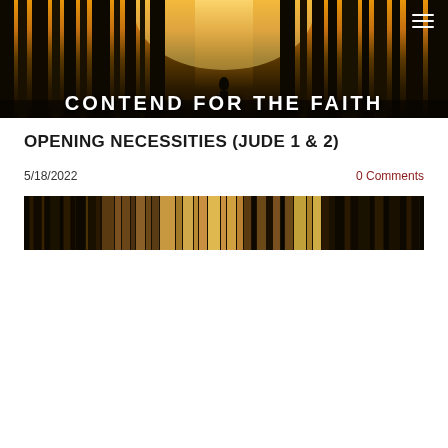[Figure (photo): Hero banner image showing a silhouette of a person standing among tall trees with golden backlight, dark forest atmosphere]
CONTEND FOR THE FAITH
OPENING NECESSITIES (JUDE 1 & 2)
5/18/2022
0 Comments
[Figure (photo): A horizontal strip/banner image with vertical streaks of dark brown, tan, and muted earthy tones resembling an abstract forest or barcode pattern]